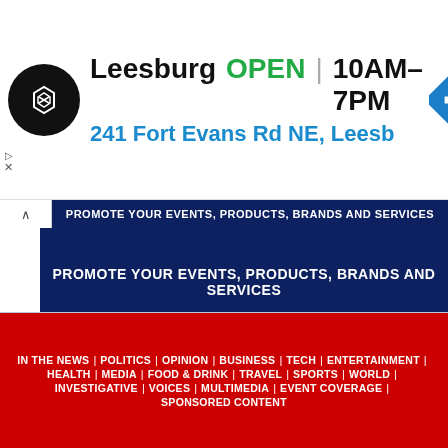[Figure (screenshot): Leesburg store ad banner with logo, OPEN status, hours 10AM-7PM, address 241 Fort Evans Rd NE, Leesb, and a blue diamond navigation arrow icon]
PROMOTE YOUR EVENTS, PRODUCTS, BRANDS AND SERVICES
Advertisement
IN THE NEWS | POLITICS | OPINION | BUSINESS | TECH | ENTERTAINMENT | HEALTH | MEDIA | FOOD & DRINK | TRAVEL | SPORTS | WORLD | INVESTIGATIVE | VOICES | MULTIMEDIA | EVENT COVERAGE | SPONSORED CONTENT